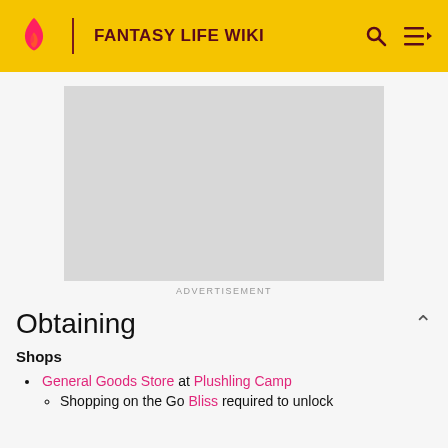FANTASY LIFE WIKI
[Figure (other): Advertisement placeholder — light grey rectangle]
ADVERTISEMENT
Obtaining
Shops
General Goods Store at Plushling Camp
Shopping on the Go Bliss required to unlock